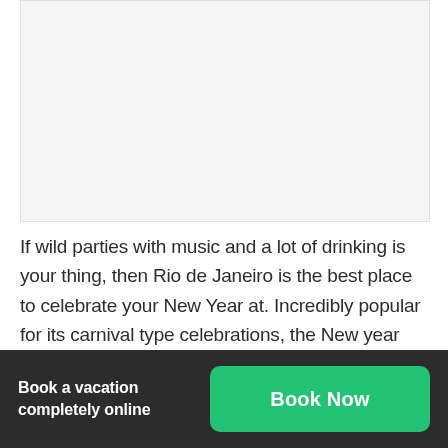[Figure (photo): Placeholder image area, light gray background]
If wild parties with music and a lot of drinking is your thing, then Rio de Janeiro is the best place to celebrate your New Year at. Incredibly popular for its carnival type celebrations, the New year ceremonies in Rio de Janeiro follow a similar pattern. The beach at
Book a vacation completely online
Book Now